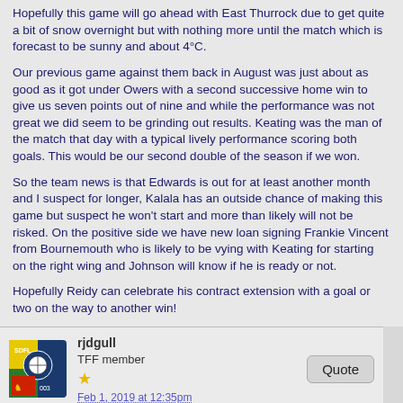Hopefully this game will go ahead with East Thurrock due to get quite a bit of snow overnight but with nothing more until the match which is forecast to be sunny and about 4°C.
Our previous game against them back in August was just about as good as it got under Owers with a second successive home win to give us seven points out of nine and while the performance was not great we did seem to be grinding out results. Keating was the man of the match that day with a typical lively performance scoring both goals. This would be our second double of the season if we won.
So the team news is that Edwards is out for at least another month and I suspect for longer, Kalala has an outside chance of making this game but suspect he won't start and more than likely will not be risked. On the positive side we have new loan signing Frankie Vincent from Bournemouth who is likely to be vying with Keating for starting on the right wing and Johnson will know if he is ready or not.
Hopefully Reidy can celebrate his contract extension with a goal or two on the way to another win!
rjdgull
TFF member
Feb 1, 2019 at 12:35pm